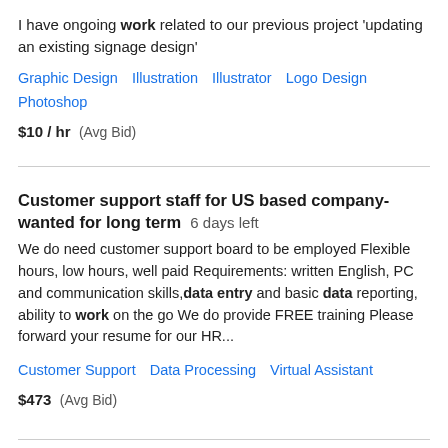I have ongoing work related to our previous project 'updating an existing signage design'
Graphic Design   Illustration   Illustrator   Logo Design   Photoshop
$10 / hr  (Avg Bid)
Customer support staff for US based company- wanted for long term  6 days left
We do need customer support board to be employed Flexible hours, low hours, well paid Requirements: written English, PC and communication skills, data entry and basic data reporting, ability to work on the go We do provide FREE training Please forward your resume for our HR...
Customer Support   Data Processing   Virtual Assistant
$473  (Avg Bid)